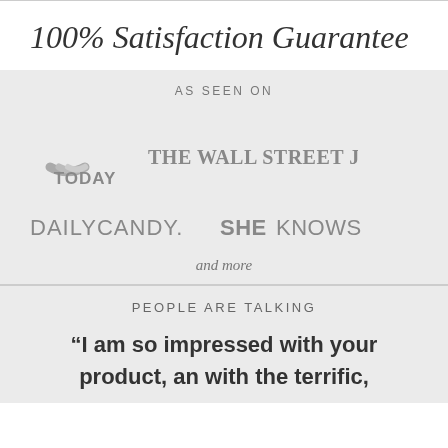100% Satisfaction Guarantee
AS SEEN ON
[Figure (logo): TODAY show logo with rainbow arc above the word TODAY in bold]
[Figure (logo): The Wall Street Journal. logo in bold serif caps]
[Figure (logo): DAILYCANDY. logo in gray sans-serif caps]
[Figure (logo): SHEKNOWS logo in gray sans-serif caps with SHE in bold]
and more
PEOPLE ARE TALKING
“I am so impressed with your product, an with the terrific,